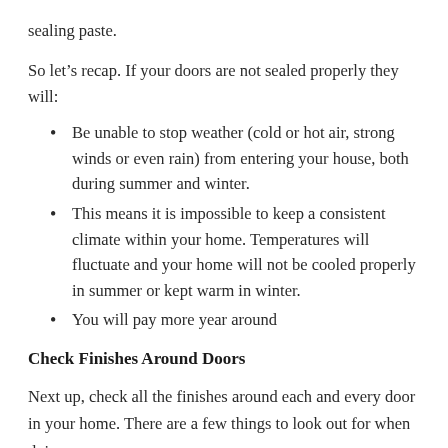sealing paste.
So let's recap. If your doors are not sealed properly they will:
Be unable to stop weather (cold or hot air, strong winds or even rain) from entering your house, both during summer and winter.
This means it is impossible to keep a consistent climate within your home. Temperatures will fluctuate and your home will not be cooled properly in summer or kept warm in winter.
You will pay more year around
Check Finishes Around Doors
Next up, check all the finishes around each and every door in your home. There are a few things to look out for when doing